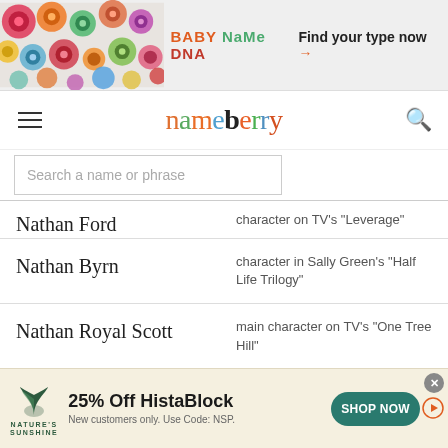[Figure (screenshot): Top banner advertisement for Baby Name DNA with colorful circle pattern on left and 'Find your type now →' on right]
nameberry
Search a name or phrase
Nathan Ford — character on TV's "Leverage"
Nathan Byrn — character in Sally Green's "Half Life Trilogy"
Nathan Royal Scott — main character on TV's "One Tree Hill"
Nathan Petrelli — character on TV's "Heroes"
[Figure (screenshot): Bottom advertisement banner for Nature's Sunshine: 25% Off HistaBlock, New customers only. Use Code: NSP. Shop Now button.]